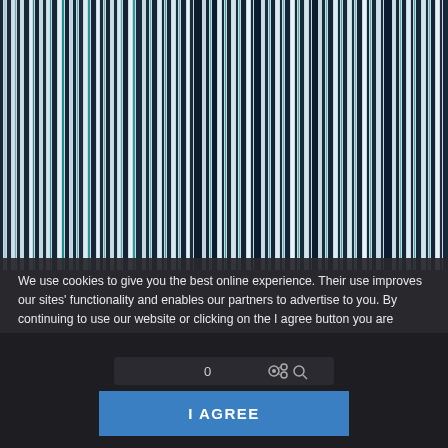[Figure (illustration): Abstract vertical color stripes in shades of teal, dark navy, light blue, white, and black forming a barcode-like decorative background image.]
We use cookies to give you the best online experience. Their use improves our sites' functionality and enables our partners to advertise to you. By continuing to use our website or clicking on the I agree button you are agreeing to our use of cookies in accordance with our Cookie Policy. Details on how we use cookies can be found in our Cookie Policy
I AGREE